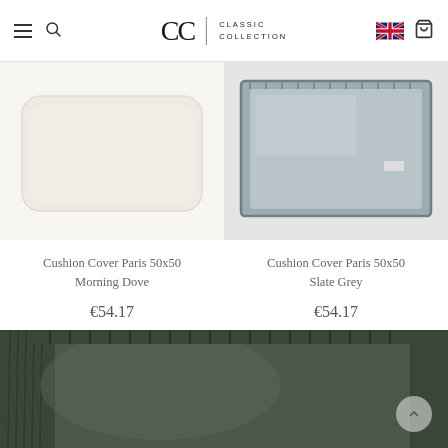Classic Collection navigation bar with hamburger menu, search, logo, UK flag, and cart icons
[Figure (photo): Product photo of Cushion Cover Paris 50x50 Morning Dove - nearly empty placeholder, light beige background]
Cushion Cover Paris 50x50
Morning Dove
€54.17
[Figure (photo): Product photo of Cushion Cover Paris 50x50 Slate Grey - grey cushion with fringe border edge]
Cushion Cover Paris 50x50
Slate Grey
€54.17
[Figure (photo): Large close-up photo of a dark olive/forest green plush cushion cover with fringe/shearling border, cropped at bottom]